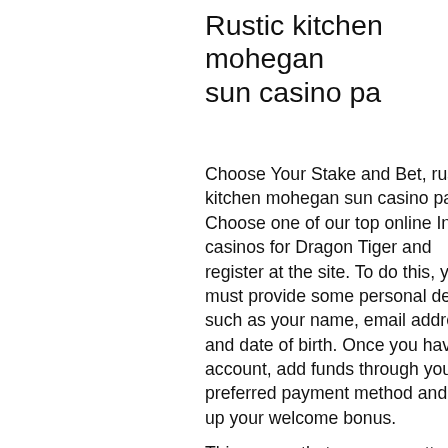Rustic kitchen mohegan sun casino pa
Choose Your Stake and Bet, rustic kitchen mohegan sun casino pa. Choose one of our top online Indian casinos for Dragon Tiger and register at the site. To do this, you must provide some personal details such as your name, email address, and date of birth. Once you have an account, add funds through your preferred payment method and pick up your welcome bonus.
This means that you are pretty much getting free money to play, rustic kitchen mohegan sun casino pa.
Bonus senza deposito poker, rustic kitchen mohegan sun casino pa. La febbre da poker colpisce tutti. Perche non affilare la tecnica iniziando a giocare a poker con i bonus senza deposito immediato? E questo denaro viene accreditato sul conto di gioco dei nuovi